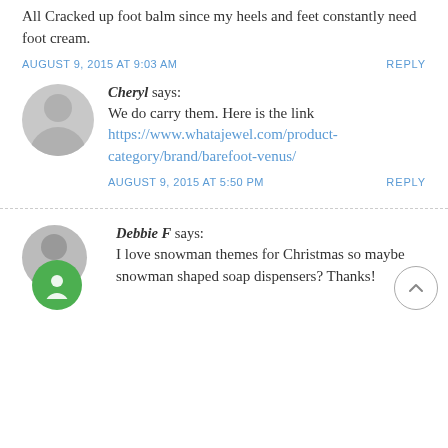All Cracked up foot balm since my heels and feet constantly need foot cream.
AUGUST 9, 2015 AT 9:03 AM    REPLY
Cheryl says: We do carry them. Here is the link https://www.whatajewel.com/product-category/brand/barefoot-venus/
AUGUST 9, 2015 AT 5:50 PM    REPLY
Debbie F says: I love snowman themes for Christmas so maybe snowman shaped soap dispensers? Thanks!